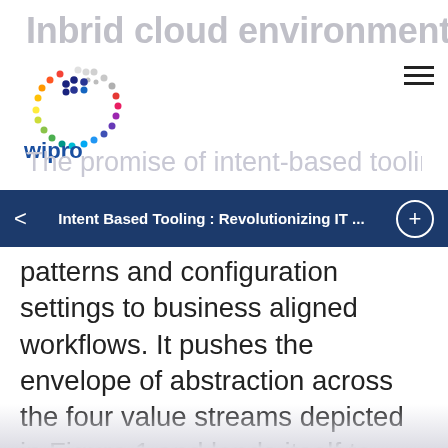In hybrid cloud environments
[Figure (logo): Wipro logo with colorful dot-ring pattern and blue 'wipro' wordmark]
The promise of intent-based tooling lies in moving the
Intent Based Tooling : Revolutionizing IT ...
patterns and configuration settings to business aligned workflows. It pushes the envelope of abstraction across the four value streams depicted in Figure 1 and lends itself to each of the IT disciplines ranging from software development framework down to infrastructure lifecycle activities. In an intent-based model, understanding the user defined intent is as critical as ensuring security. In essence, some of the key challenges that this model tries to address include: scale, assurance, cloud and security (see